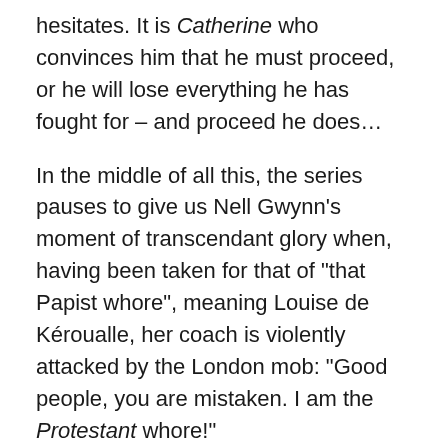hesitates. It is Catherine who convinces him that he must proceed, or he will lose everything he has fought for – and proceed he does…
In the middle of all this, the series pauses to give us Nell Gwynn's moment of transcendant glory when, having been taken for that of "that Papist whore", meaning Louise de Kéroualle, her coach is violently attacked by the London mob: "Good people, you are mistaken. I am the Protestant whore!"
Meanwhile, Monmouth has been on a "publicity tour", travelling the country and gaining the affection and support of the people – which doesn't exactly endear him to his father. It is here that the series begins to give us a Charles who is mysteriously prescient about future events, in this case telling Monmouth that he will never be king, and that